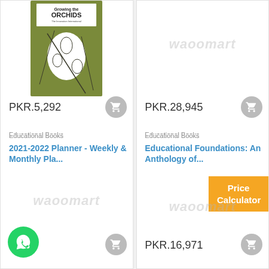[Figure (photo): Book cover for 'Growing the Orchids' with olive green floral illustration]
PKR.5,292
Educational Books
2021-2022 Planner - Weekly & Monthly Pla...
[Figure (logo): waoomart watermark logo in light gray, left column]
...212
[Figure (logo): waoomart watermark logo in light gray, right column top]
PKR.28,945
Educational Books
Educational Foundations: An Anthology of...
[Figure (logo): waoomart watermark logo in light gray, right column bottom]
PKR.16,971
Price Calculator